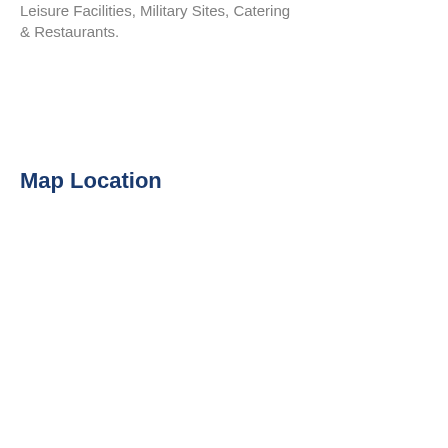Leisure Facilities, Military Sites, Catering & Restaurants.
Map Location